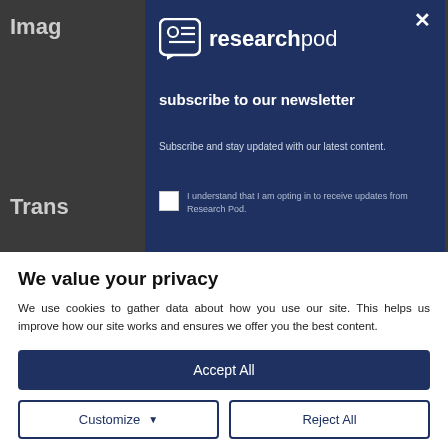[Figure (screenshot): ResearchPod newsletter subscription modal overlay on a dark background, showing logo, headline 'subscribe to our newsletter', subtext, and a checkbox with consent text]
We value your privacy
We use cookies to gather data about how you use our site. This helps us improve how our site works and ensures we offer you the best content.
Accept All
Customize
Reject All